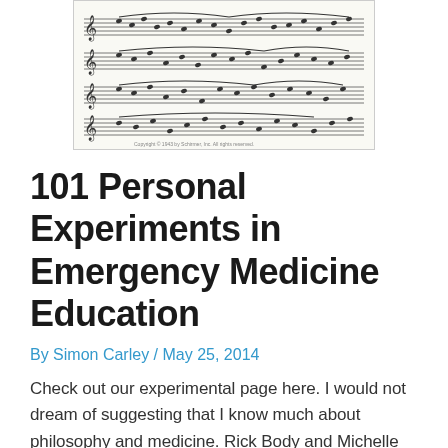[Figure (photo): Photograph of a page of sheet music with multiple staves of musical notation including notes, slurs, and other musical symbols]
101 Personal Experiments in Emergency Medicine Education
By Simon Carley / May 25, 2014
Check out our experimental page here. I would not dream of suggesting that I know much about philosophy and medicine. Rick Body and Michelle Johnston would no doubt be able …